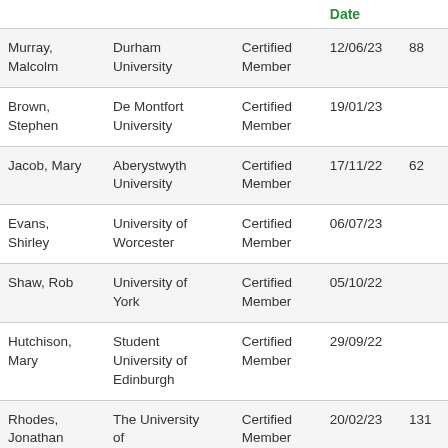|  |  |  | Date |  |
| --- | --- | --- | --- | --- |
| Murray, Malcolm | Durham University | Certified Member | 12/06/23 | 88 |
| Brown, Stephen | De Montfort University | Certified Member | 19/01/23 |  |
| Jacob, Mary | Aberystwyth University | Certified Member | 17/11/22 | 62 |
| Evans, Shirley | University of Worcester | Certified Member | 06/07/23 |  |
| Shaw, Rob | University of York | Certified Member | 05/10/22 |  |
| Hutchison, Mary | Student University of Edinburgh | Certified Member | 29/09/22 |  |
| Rhodes, Jonathan | The University of Wolverhampton | Certified Member | 20/02/23 | 131 |